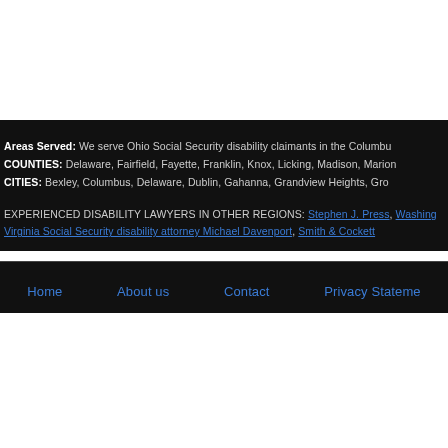Areas Served: We serve Ohio Social Security disability claimants in the Columbus COUNTIES: Delaware, Fairfield, Fayette, Franklin, Knox, Licking, Madison, Marion CITIES: Bexley, Columbus, Delaware, Dublin, Gahanna, Grandview Heights, Gro
EXPERIENCED DISABILITY LAWYERS IN OTHER REGIONS: Stephen J. Press, Washing Virginia Social Security disability attorney Michael Davenport, Smith & Cockett
Home  About us  Contact  Privacy Statement